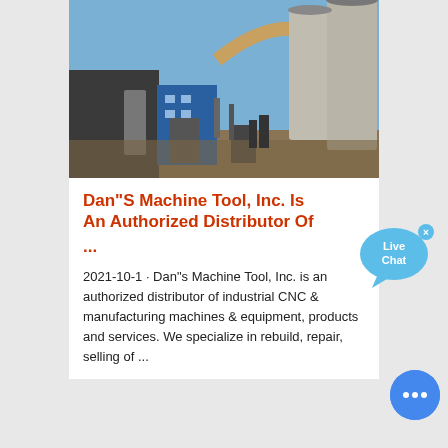[Figure (photo): Industrial facility with large concrete silos, conveyor pipes, and heavy machinery under a blue sky]
Dan"S Machine Tool, Inc. Is An Authorized Distributor Of ...
2021-10-1 · Dan"s Machine Tool, Inc. is an authorized distributor of industrial CNC & manufacturing machines & equipment, products and services. We specialize in rebuild, repair, selling of ...
[Figure (illustration): Live Chat speech bubble widget with close button, light blue color]